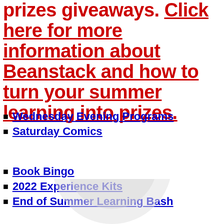prizes giveaways. Click here for more information about Beanstack and how to turn your summer learning into prizes.
Wednesday Evening Programs
Saturday Comics
Book Bingo
2022 Experience Kits
End of Summer Learning Bash
[Figure (illustration): Partial circular logo or decorative graphic at the bottom of the page, light gray]